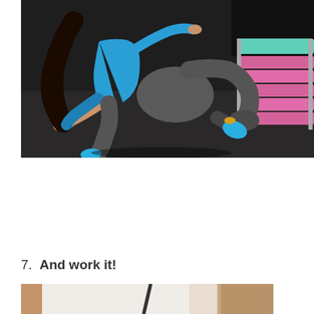[Figure (photo): A woman in a blue top and grey leggings performing a kneeling exercise in a gym. She has one knee on the dark floor and is leaning forward with one hand on the ground. In the background there is gym equipment with colorful pink and teal foam rollers or padding stacked on a rack.]
7.  And work it!
[Figure (photo): Partial view of a person in a white top exercising, showing torso and arm area. A second partial figure is visible on the right side.]